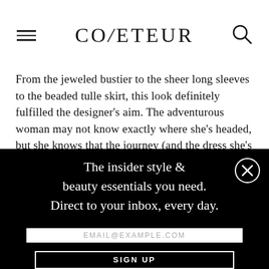COVETEUR
From the jeweled bustier to the sheer long sleeves to the beaded tulle skirt, this look definitely fulfilled the designer’s aim. The adventurous woman may not know exactly where she’s headed, but she knows that the journey (and the dress she’s wearing on the path) will be more than worth it.
The insider style & beauty essentials you need. Direct to your inbox, every day.
EMAIL@EXAMPLE.COM
SIGN UP